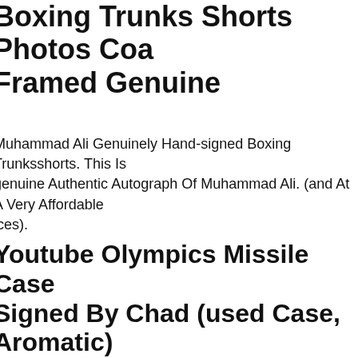Boxing Trunks Shorts Photos Coa Framed Genuine
Muhammad Ali Genuinely Hand-signed Boxing Trunksshorts. This Is genuine Authentic Autograph Of Muhammad Ali. (and At A Very Affordable ices).
Youtube Olympics Missile Case Signed By Chad (used Case, Aromatic)
mits A Crisp, Aromatic Odor.
Bsa Motorcycles Neon Sign / Motorcycle Signs / Garage Signs For Men / Bsa Dealer